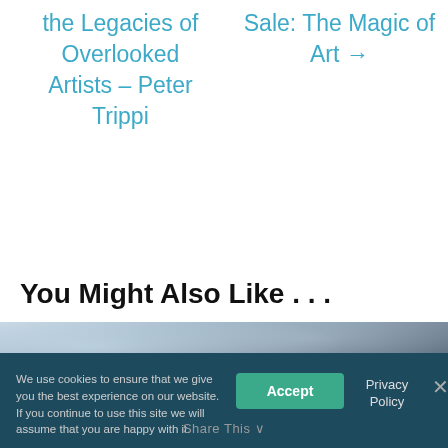the Legacies of Overlooked Artists – Peter Trippi
Sale: The Magic of Art →
You Might Also Like . . .
[Figure (photo): Partial view of a cloudy sky photograph at the bottom of the page]
We use cookies to ensure that we give you the best experience on our website. If you continue to use this site we will assume that you are happy with it.
Accept
Privacy Policy
Share This ∨